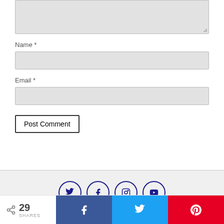[Figure (screenshot): Comment form textarea (grayed out, partially visible at top)]
Name *
[Figure (screenshot): Name input field (empty, gray background)]
Email *
[Figure (screenshot): Email input field (empty, gray background)]
[Figure (screenshot): Post Comment button]
[Figure (screenshot): Social media icons: Twitter, Facebook, Instagram, YouTube — dark navy circle outline style]
[Figure (screenshot): Share bar at bottom: 29 SHARES, Facebook share button (blue), Twitter share button (light blue), Pinterest share button (red)]